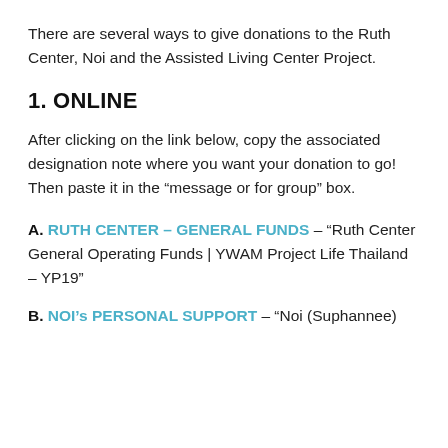There are several ways to give donations to the Ruth Center, Noi and the Assisted Living Center Project.
1. ONLINE
After clicking on the link below, copy the associated designation note where you want your donation to go! Then paste it in the “message or for group” box.
A. RUTH CENTER – GENERAL FUNDS – “Ruth Center General Operating Funds | YWAM Project Life Thailand – YP19”
B. NOI’s PERSONAL SUPPORT – “Noi (Suphannee)